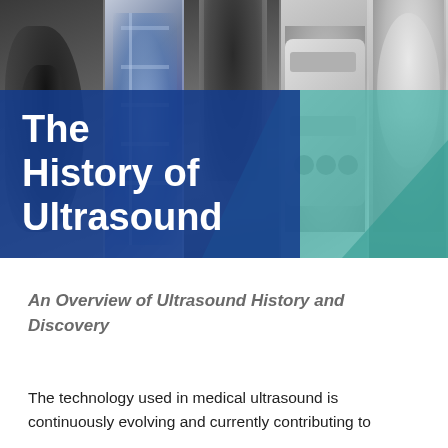[Figure (photo): A collage of five black-and-white photographs showing: an older scientist/man in a suit, an x-ray or anatomical diagram of a spine, a young athletic man, a medical ultrasound machine, and a healthcare professional with a patient. Overlaid with a dark blue rectangle containing the title text and a teal diagonal chevron/wave shape.]
The History of Ultrasound
An Overview of Ultrasound History and Discovery
The technology used in medical ultrasound is continuously evolving and currently contributing to